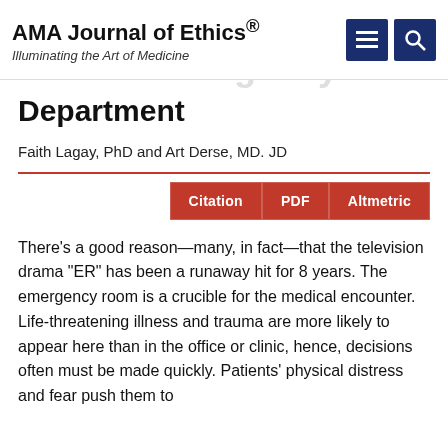AMA Journal of Ethics® Illuminating the Art of Medicine
Department
Faith Lagay, PhD and Art Derse, MD. JD
Citation  PDF  Altmetric
There's a good reason—many, in fact—that the television drama "ER" has been a runaway hit for 8 years. The emergency room is a crucible for the medical encounter. Life-threatening illness and trauma are more likely to appear here than in the office or clinic, hence, decisions often must be made quickly. Patients' physical distress and fear push them to